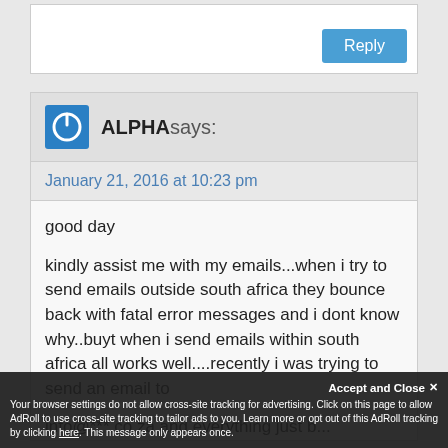[Figure (other): Reply text input box with blue Reply button]
ALPHA says:
January 21, 2016 at 10:23 pm
good day

kindly assist me with my emails...when i try to send emails outside south africa they bounce back with fatal error messages and i dont know why..buyt when i send emails within south africa all works well....recently i was trying to send an email to info@***.co.za and everything just b...
Accept and Close
Your browser settings do not allow cross-site tracking for advertising. Click on this page to allow AdRoll to use cross-site tracking to tailor ads to you. Learn more or opt out of this AdRoll tracking by clicking here. This message only appears once.